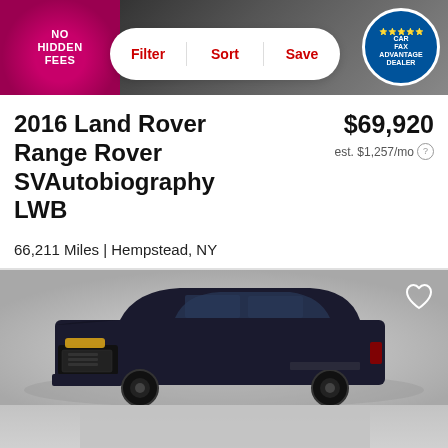[Figure (screenshot): Car listing page header banner with 'No Hidden Fees' badge on left, Filter/Sort/Save pill buttons in center, and Carfax Advantage Dealer badge on right]
2016 Land Rover Range Rover SVAutobiography LWB
$69,920
est. $1,257/mo
66,211 Miles | Hempstead, NY
Track Price    Check Availability
[Figure (photo): Dark navy/black Land Rover Range Rover SVAutobiography LWB parked, photographed from front 3/4 angle against a light gray background. Heart/favorite icon in top right corner.]